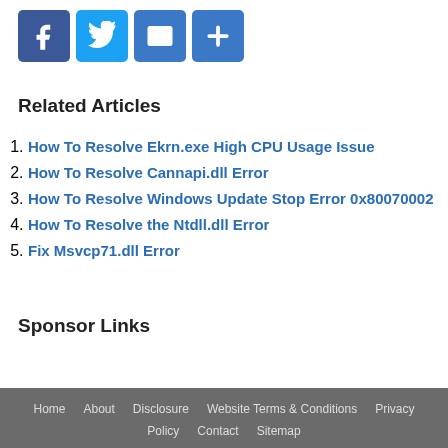[Figure (other): Social media sharing icons: Facebook (blue), Twitter (light blue), Mail (blue envelope), Share/Plus (blue plus sign)]
Related Articles
How To Resolve Ekrn.exe High CPU Usage Issue
How To Resolve Cannapi.dll Error
How To Resolve Windows Update Stop Error 0x80070002
How To Resolve the Ntdll.dll Error
Fix Msvcp71.dll Error
Sponsor Links
Home   About   Disclosure   Website Terms & Conditions   Privacy   Policy   Contact   Sitemap